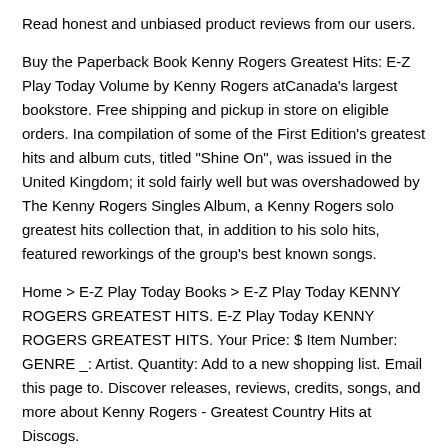Read honest and unbiased product reviews from our users.
Buy the Paperback Book Kenny Rogers Greatest Hits: E-Z Play Today Volume by Kenny Rogers atCanada's largest bookstore. Free shipping and pickup in store on eligible orders. Ina compilation of some of the First Edition's greatest hits and album cuts, titled "Shine On", was issued in the United Kingdom; it sold fairly well but was overshadowed by The Kenny Rogers Singles Album, a Kenny Rogers solo greatest hits collection that, in addition to his solo hits, featured reworkings of the group's best known songs.
Home > E-Z Play Today Books > E-Z Play Today KENNY ROGERS GREATEST HITS. E-Z Play Today KENNY ROGERS GREATEST HITS. Your Price: $ Item Number: GENRE _: Artist. Quantity: Add to a new shopping list. Email this page to. Discover releases, reviews, credits, songs, and more about Kenny Rogers - Greatest Country Hits at Discogs.
Complete your Kenny Rogers collection. Kenny Rogers is a singer, songwriter, actor, producer, photographer, and entrepreneur. He has